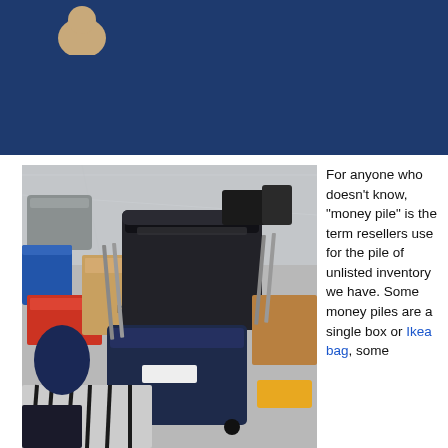[Figure (photo): Dark navy blue header banner at top of page]
[Figure (photo): Photo of a cluttered storage area with boxes, bins, and miscellaneous items including a Kohls box, storage containers, black bin, and striped fabric]
For anyone who doesn't know, “money pile” is the term resellers use for the pile of unlisted inventory we have. Some money piles are a single box or Ikea bag, some